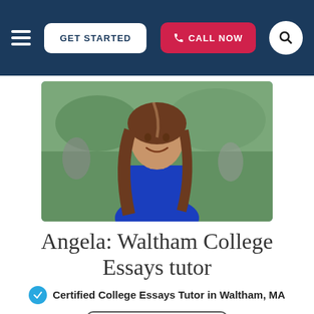GET STARTED | CALL NOW
[Figure (photo): Profile photo of Angela, a young woman with long brown hair wearing a blue dress, smiling outdoors at what appears to be a graduation or outdoor event.]
Angela: Waltham College Essays tutor
Certified College Essays Tutor in Waltham, MA
CALL NOW